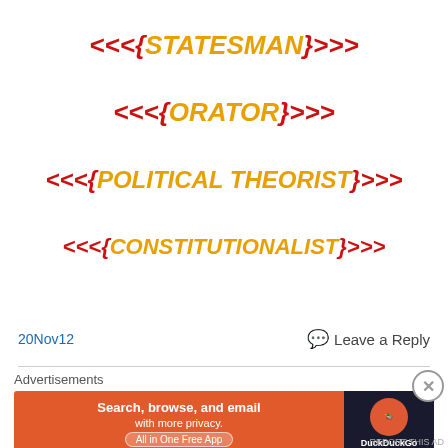<<<{STATESMAN}>>>
<<<{ORATOR}>>>
<<<{POLITICAL THEORIST}>>>
<<<{CONSTITUTIONALIST}>>>
20Nov12
Leave a Reply
Advertisements
[Figure (screenshot): DuckDuckGo advertisement banner: orange background with text 'Search, browse, and email with more privacy. All in One Free App' and DuckDuckGo logo on dark right panel]